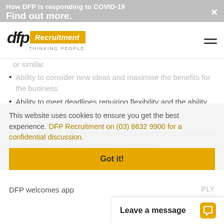How DFP is responding to COVID-19  Find out more.  ×
[Figure (logo): DFP Recruitment logo with tagline THINKING PEOPLE]
or similar.
Ability to consider new ideas and maximise the benefits for the business
Ability to meet deadlines requiring flexibility and the ability to work independently at times
As this role sits within the Federal Government, applicants are required to hold Australian Citizenship.
This website uses cookies to ensure you get the best experience.
the best experience. DFP Recruitment on (03) 8632 9900 for a confidential discussion.
Got it!
Leave a message
DFP welcomes app